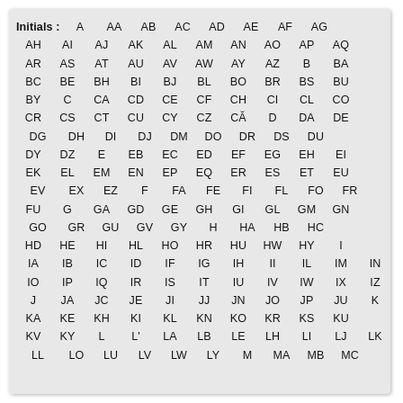Initials : A AA AB AC AD AE AF AG AH AI AJ AK AL AM AN AO AP AQ AR AS AT AU AV AW AY AZ B BA BC BE BH BI BJ BL BO BR BS BU BY C CA CD CE CF CH CI CL CO CR CS CT CU CY CZ CĂ D DA DE DG DH DI DJ DM DO DR DS DU DY DZ E EB EC ED EF EG EH EI EK EL EM EN EP EQ ER ES ET EU EV EX EZ F FA FE FI FL FO FR FU G GA GD GE GH GI GL GM GN GO GR GU GV GY H HA HB HC HD HE HI HL HO HR HU HW HY I IA IB IC ID IF IG IH II IL IM IN IO IP IQ IR IS IT IU IV IW IX IZ J JA JC JE JI JJ JN JO JP JU K KA KE KH KI KL KN KO KR KS KU KV KY L L' LA LB LE LH LI LJ LK LL LO LU LV LW LY M MA MB MC